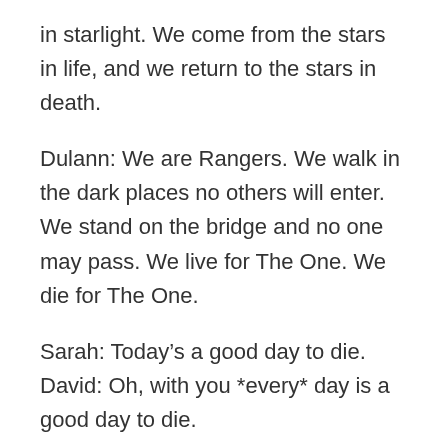in starlight. We come from the stars in life, and we return to the stars in death.
Dulann: We are Rangers. We walk in the dark places no others will enter. We stand on the bridge and no one may pass. We live for The One. We die for The One.
Sarah: Today’s a good day to die.
David: Oh, with you *every* day is a good day to die.
Drazi: Your name is Tirk, isn’t it? That isn’t a Drazi name.